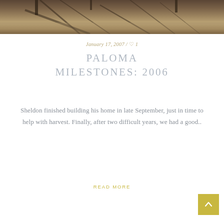[Figure (photo): Outdoor photograph showing tree shadows on dry ground/yard, appears to be autumn or winter scene, dark tones with brown and grey coloring]
January 17, 2007 / ♡ 1
PALOMA MILESTONES: 2006
Sheldon finished building his home in late September, just in time to help with harvest. Finally, after two difficult years, we had a good..
READ MORE